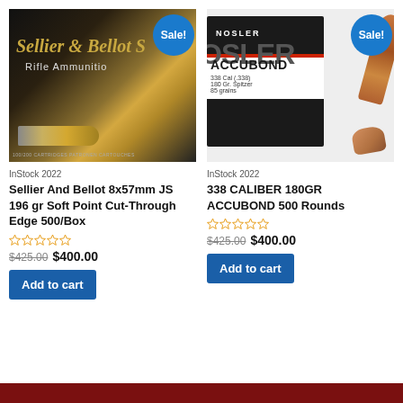[Figure (photo): Sellier & Bellot rifle ammunition box with brass bullet, dark background, Sale! badge overlay]
InStock 2022
Sellier And Bellot 8x57mm JS 196 gr Soft Point Cut-Through Edge 500/Box
★★★★★ (empty stars rating)
$425.00 $400.00
Add to cart
[Figure (photo): Nosler AccuBond 338 Cal .338 180 Gr Spitzer bullets box with copper bullets, Sale! badge overlay]
InStock 2022
338 CALIBER 180GR ACCUBOND 500 Rounds
★★★★★ (empty stars rating)
$425.00 $400.00
Add to cart